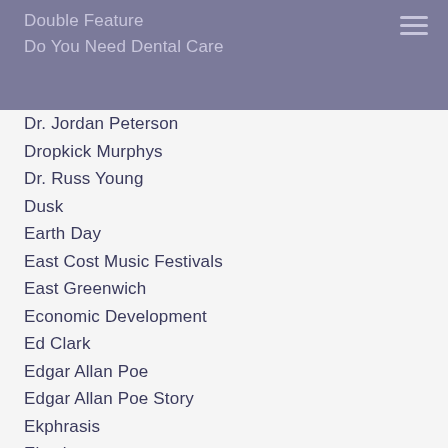Double Feature
Do You Need Dental Care
Dr. Jordan Peterson
Dropkick Murphys
Dr. Russ Young
Dusk
Earth Day
East Cost Music Festivals
East Greenwich
Economic Development
Ed Clark
Edgar Allan Poe
Edgar Allan Poe Story
Ekphrasis
Election
Election 2014
Election 2016
Electric Zoolf
Elijah Montoya
Ellefson Coffee Co
Elvis